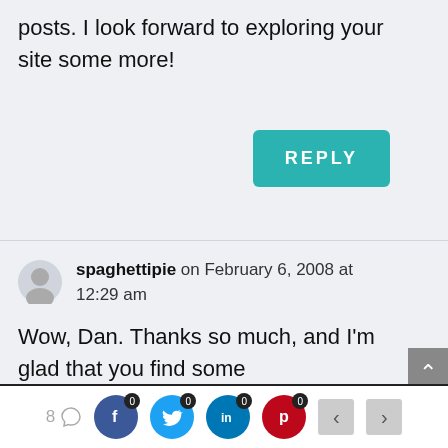posts. I look forward to exploring your site some more!
REPLY
spaghettipie on February 6, 2008 at 12:29 am
Wow, Dan. Thanks so much, and I'm glad that you find some encouragement in my little posts. I look forward to